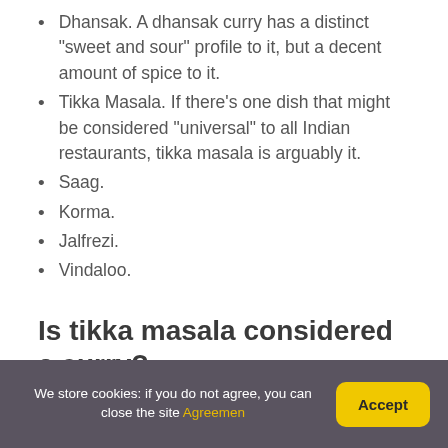Dhansak. A dhansak curry has a distinct “sweet and sour” profile to it, but a decent amount of spice to it.
Tikka Masala. If there’s one dish that might be considered “universal” to all Indian restaurants, tikka masala is arguably it.
Saag.
Korma.
Jalfrezi.
Vindaloo.
Is tikka masala considered a curry?
We store cookies: if you do not agree, you can close the site Agreemen